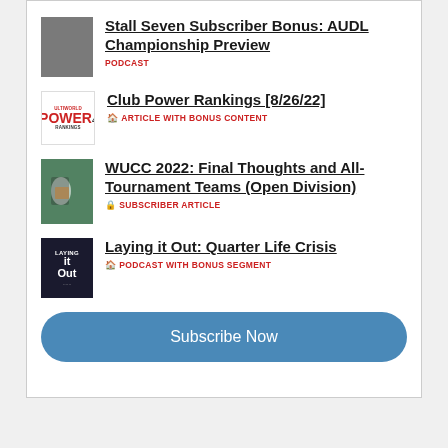Stall Seven Subscriber Bonus: AUDL Championship Preview — PODCAST
Club Power Rankings [8/26/22] — ARTICLE WITH BONUS CONTENT
WUCC 2022: Final Thoughts and All-Tournament Teams (Open Division) — SUBSCRIBER ARTICLE
Laying it Out: Quarter Life Crisis — PODCAST WITH BONUS SEGMENT
Subscribe Now